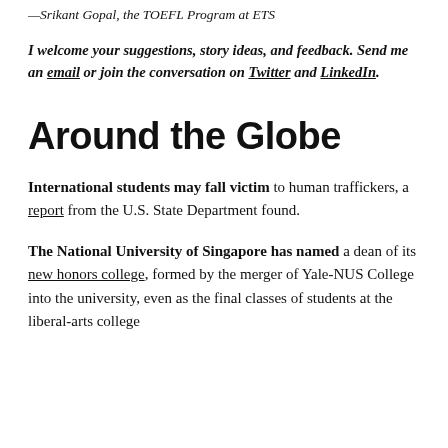—Srikant Gopal, the TOEFL Program at ETS
I welcome your suggestions, story ideas, and feedback. Send me an email or join the conversation on Twitter and LinkedIn.
Around the Globe
International students may fall victim to human traffickers, a report from the U.S. State Department found.
The National University of Singapore has named a dean of its new honors college, formed by the merger of Yale-NUS College into the university, even as the final classes of students at the liberal-arts college